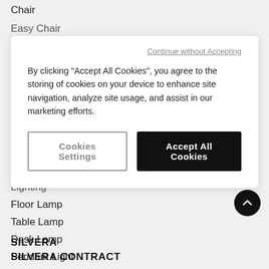Chair
Easy Chair
Continue without Accepting
By clicking "Accept All Cookies", you agree to the storing of cookies on your device to enhance site navigation, analyze site usage, and assist in our marketing efforts.
[Cookies Settings] [Accept All Cookies]
Lighting
Floor Lamp
Table Lamp
Desk Lamp
Pendant Light
Wall Light
SILVERA
SILVERA CONTRACT